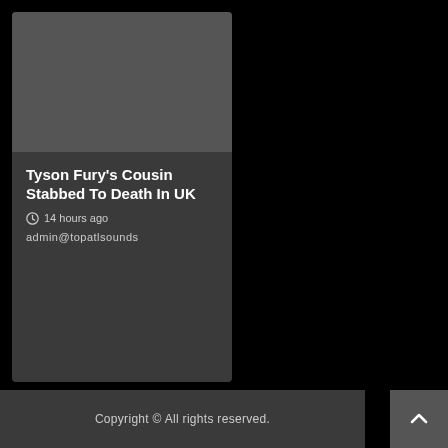[Figure (photo): Dark grey rectangular image placeholder at top of card]
Tyson Fury's Cousin Stabbed To Death In UK
14 hours ago
admin@topatlsounds
Copyright © All rights reserved.